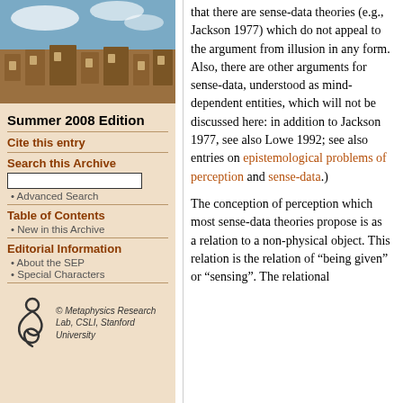[Figure (photo): Photo of a university building (stone architecture) with blue sky and clouds, likely Stanford or Oxford style.]
Summer 2008 Edition
Cite this entry
Search this Archive
• Advanced Search
Table of Contents
• New in this Archive
Editorial Information
• About the SEP
• Special Characters
[Figure (logo): Metaphysics Research Lab, CSLI, Stanford University logo with stylized figure.]
that there are sense-data theories (e.g., Jackson 1977) which do not appeal to the argument from illusion in any form. Also, there are other arguments for sense-data, understood as mind-dependent entities, which will not be discussed here: in addition to Jackson 1977, see also Lowe 1992; see also entries on epistemological problems of perception and sense-data.)
The conception of perception which most sense-data theories propose is as a relation to a non-physical object. This relation is the relation of “being given” or “sensing”. The relational